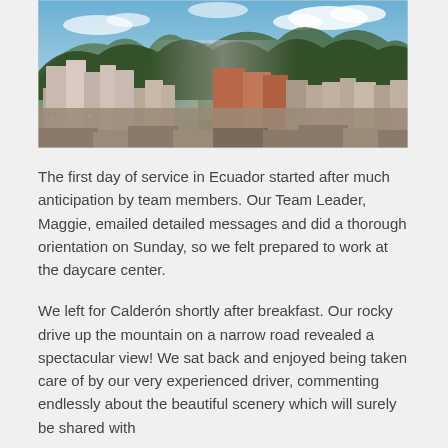[Figure (photo): Aerial/elevated cityscape photo of Quito, Ecuador, showing multi-story buildings in the foreground and green mountains with blue sky in the background.]
The first day of service in Ecuador started after much anticipation by team members. Our Team Leader, Maggie, emailed detailed messages and did a thorough orientation on Sunday, so we felt prepared to work at the daycare center.
We left for Calderón shortly after breakfast. Our rocky drive up the mountain on a narrow road revealed a spectacular view! We sat back and enjoyed being taken care of by our very experienced driver, commenting endlessly about the beautiful scenery which will surely be shared with